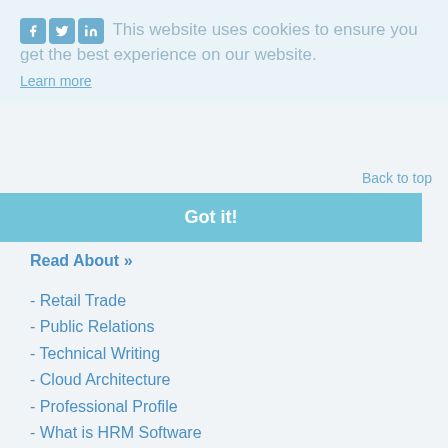This website uses cookies to ensure you get the best experience on our website.
Learn more
Back to top
Got it!
Read About »
- Retail Trade
- Public Relations
- Technical Writing
- Cloud Architecture
- Professional Profile
- What is HRM Software
- Performance Objectives
- Organizational Consulting
- Report Types
- Team Building